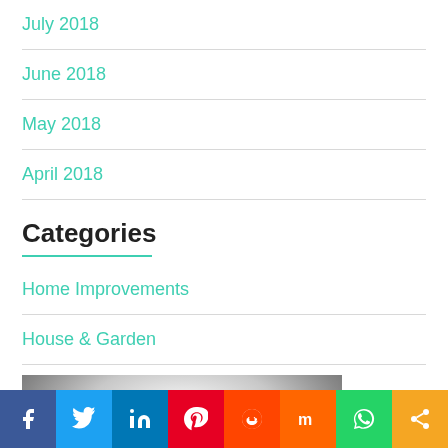July 2018
June 2018
May 2018
April 2018
Categories
Home Improvements
House & Garden
[Figure (photo): Grayscale photo of a car dashboard/windshield view from inside a vehicle]
Facebook Twitter LinkedIn Pinterest Reddit Mix WhatsApp Share